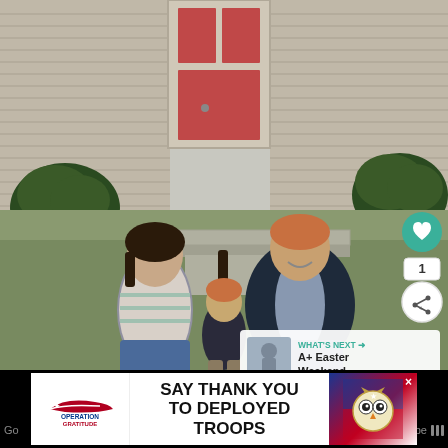[Figure (photo): A family of three — a woman, a man, and a toddler — sitting on front porch steps of a house with beige siding. Social media UI elements overlaid: a teal heart button, a share count of 1, a share button, and a 'What's Next' overlay showing 'A+ Easter Weekend'.]
[Figure (screenshot): Operation Gratitude advertisement banner: 'SAY THANK YOU TO DEPLOYED TROOPS' with logo and patriotic owl graphic, close button (×) visible.]